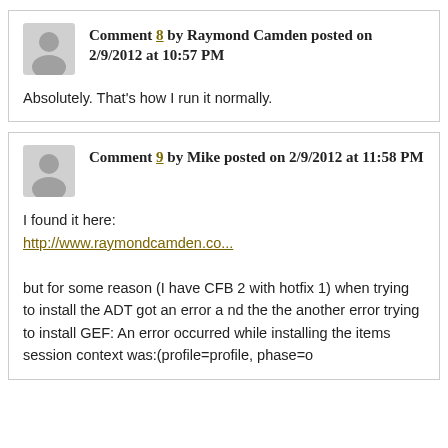Comment 8 by Raymond Camden posted on 2/9/2012 at 10:57 PM
Absolutely. That's how I run it normally.
Comment 9 by Mike posted on 2/9/2012 at 11:58 PM
I found it here:
http://www.raymondcamden.co...

but for some reason (I have CFB 2 with hotfix 1) when trying to install the ADT got an error and the the another error trying to install GEF: An error occurred while installing the items session context was:(profile=profile, phase=o